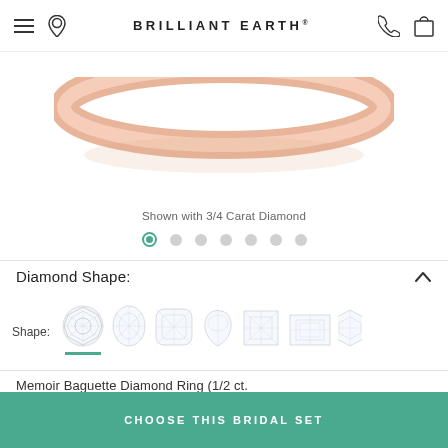BRILLIANT EARTH
[Figure (photo): Rose gold diamond ring shown from top, partially cropped at top of image area]
Shown with 3/4 Carat Diamond
[Figure (infographic): Navigation dots row: first dot active (teal circle with inner dot), six inactive grey dots]
Diamond Shape:
[Figure (infographic): Diamond shape selector row showing: round (selected with teal underline), oval, cushion, pear, princess, emerald, and partial 7th shape]
Memoir Baguette Diamond Ring (1/2 ct.
CHOOSE THIS BRIDAL SET